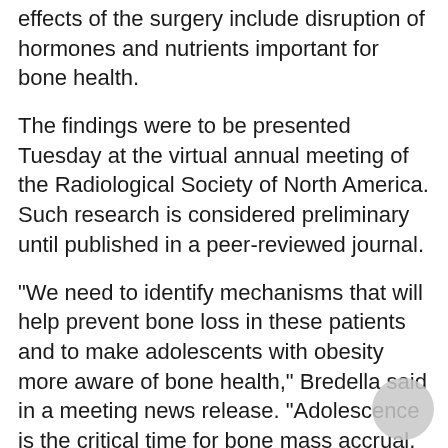effects of the surgery include disruption of hormones and nutrients important for bone health.
The findings were to be presented Tuesday at the virtual annual meeting of the Radiological Society of North America. Such research is considered preliminary until published in a peer-reviewed journal.
"We need to identify mechanisms that will help prevent bone loss in these patients and to make adolescents with obesity more aware of bone health," Bredella said in a meeting news release. "Adolescence is the critical time for bone mass accrual, and any process that interferes with bone accrual during this time can have dire consequences later in life."
More information
For more on weight-loss surgery, head to the American Society for Metabolic and Bariatric Surgery.